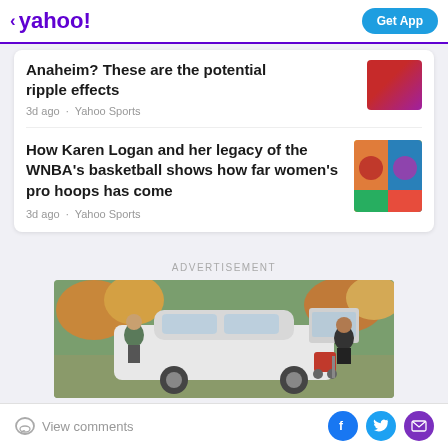yahoo! | Get App
Anaheim? These are the potential ripple effects
3d ago · Yahoo Sports
How Karen Logan and her legacy of the WNBA's basketball shows how far women's pro hoops has come
3d ago · Yahoo Sports
ADVERTISEMENT
[Figure (photo): Advertisement photo showing two people loading a stroller into the trunk of a white car outdoors in autumn]
View comments | Facebook | Twitter | Email